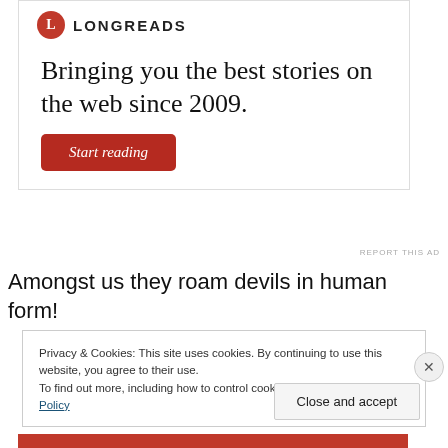[Figure (logo): Longreads logo with red circle containing letter L and LONGREADS text]
Bringing you the best stories on the web since 2009.
Start reading
REPORT THIS AD
Amongst us they roam devils in human form!
Privacy & Cookies: This site uses cookies. By continuing to use this website, you agree to their use.
To find out more, including how to control cookies, see here: Cookie Policy
Close and accept